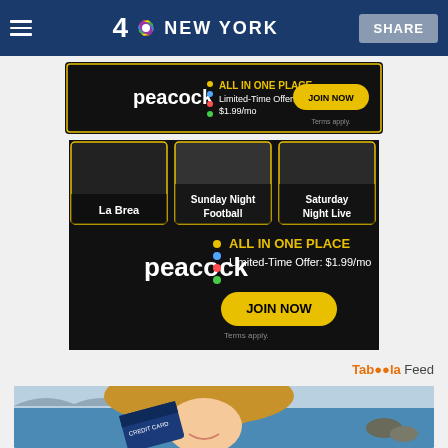4 NBC NEW YORK | SHARE
[Figure (screenshot): Peacock streaming service banner ad: 'ALL IN ONE PLACE - Limited-Time Offer: $1.99/mo - JOIN NOW - Terms apply.' Dark background with peacock logo and colorful dots.]
[Figure (screenshot): Large Peacock streaming service ad showing TV show images (La Brea, Sunday Night Football, Saturday Night Live) at top, and Peacock logo with text 'ALL IN ONE PLACE - Limited-Time Offer: $1.99/mo - JOIN NOW - Terms apply.' on dark background.]
Taboola Feed
[Figure (photo): A smiling young woman wearing a large straw sun hat at the beach, holding a credit card up near her face. Background shows ocean waves and rocky shore.]